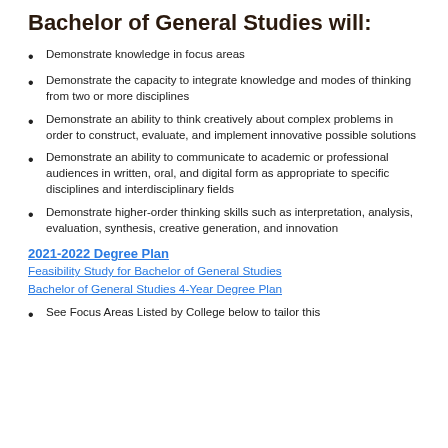Bachelor of General Studies will:
Demonstrate knowledge in focus areas
Demonstrate the capacity to integrate knowledge and modes of thinking from two or more disciplines
Demonstrate an ability to think creatively about complex problems in order to construct, evaluate, and implement innovative possible solutions
Demonstrate an ability to communicate to academic or professional audiences in written, oral, and digital form as appropriate to specific disciplines and interdisciplinary fields
Demonstrate higher-order thinking skills such as interpretation, analysis, evaluation, synthesis, creative generation, and innovation
2021-2022 Degree Plan
Feasibility Study for Bachelor of General Studies
Bachelor of General Studies 4-Year Degree Plan
See Focus Areas Listed by College below to tailor this